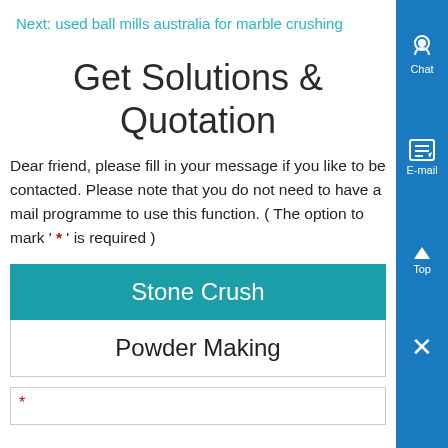Next: used ball mills australia for marble crushing
Get Solutions & Quotation
Dear friend, please fill in your message if you like to be contacted. Please note that you do not need to have a mail programme to use this function. ( The option to mark ' * ' is required )
Stone Crush
Powder Making